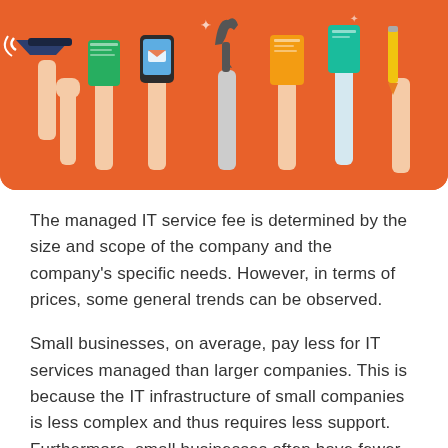[Figure (illustration): Colorful illustration on an orange background showing multiple hands raised holding various objects including a megaphone, tools, mobile phone, and other items, suggesting collaboration and IT services.]
The managed IT service fee is determined by the size and scope of the company and the company's specific needs. However, in terms of prices, some general trends can be observed.
Small businesses, on average, pay less for IT services managed than larger companies. This is because the IT infrastructure of small companies is less complex and thus requires less support. Furthermore, small businesses often have fewer IT staff and thus require IT support.